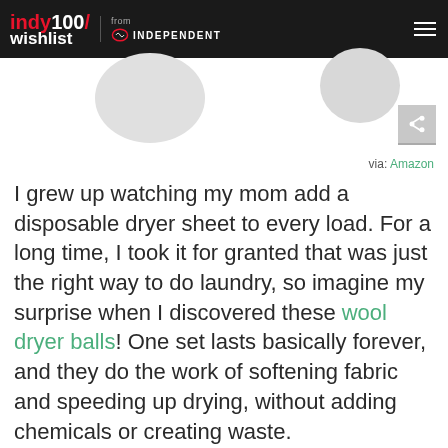indy100/wishlist from INDEPENDENT
[Figure (photo): Partial view of two grey/white circular dryer balls against white background]
via: Amazon
I grew up watching my mom add a disposable dryer sheet to every load. For a long time, I took it for granted that was just the right way to do laundry, so imagine my surprise when I discovered these wool dryer balls! One set lasts basically forever, and they do the work of softening fabric and speeding up drying, without adding chemicals or creating waste.
SEE IT ON AMAZON